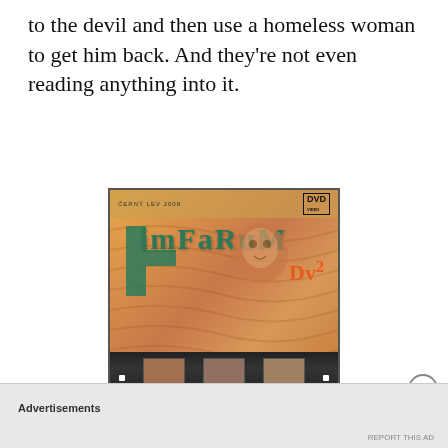to the devil and then use a homeless woman to get him back. And they're not even reading anything into it.
[Figure (photo): DVD cover of Fimfarum 2, showing illustrated cartoon characters and a film strip with scenes, with Czech text at the bottom. CERBY LEV 2008 label at top.]
Advertisements